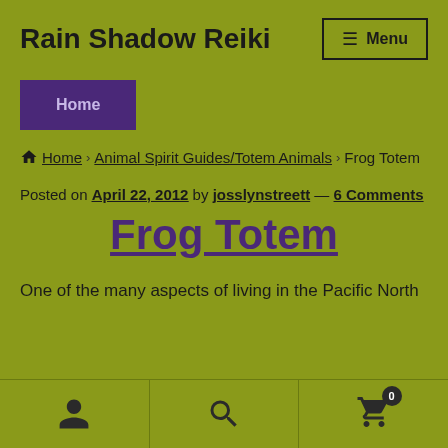Rain Shadow Reiki
Home
Home › Animal Spirit Guides/Totem Animals › Frog Totem
Posted on April 22, 2012 by josslynstreett — 6 Comments
Frog Totem
One of the many aspects of living in the Pacific North